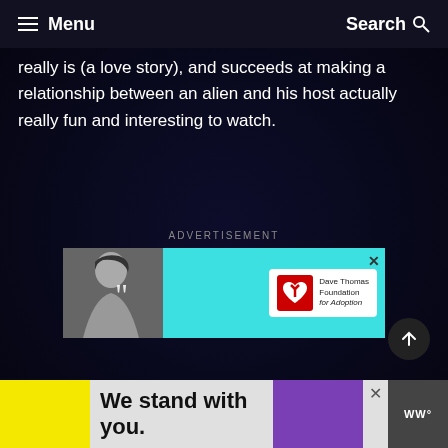Menu  Search
really is (a love story), and succeeds at making a relationship between an alien and his host actually really fun and interesting to watch.
ADVERTISEMENT
[Figure (other): Advertisement banner with black-and-white photo of a woman on left, cyan background with Dave Thomas Foundation for Adoption logo on right, with a close (X) button]
[Figure (other): We stand with you. bottom banner advertisement with yellow, purple sections and close button]
We stand with you.